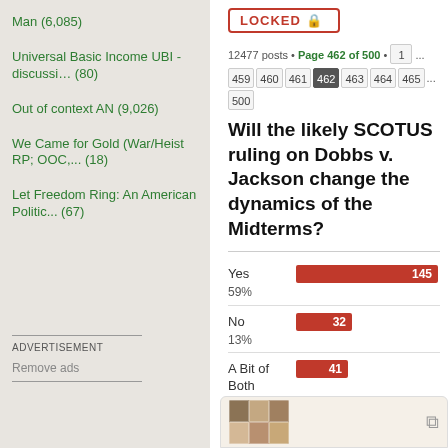Man (6,085)
Universal Basic Income UBI - discussi… (80)
Out of context AN (9,026)
We Came for Gold (War/Heist RP; OOC,... (18)
Let Freedom Ring: An American Politic... (67)
ADVERTISEMENT
Remove ads
LOCKED 🔒
12477 posts • Page 462 of 500 • 1 ... 459 460 461 462 463 464 465 ... 500
Will the likely SCOTUS ruling on Dobbs v. Jackson change the dynamics of the Midterms?
[Figure (bar-chart): Will the likely SCOTUS ruling on Dobbs v. Jackson change the dynamics of the Midterms?]
Total votes : 245